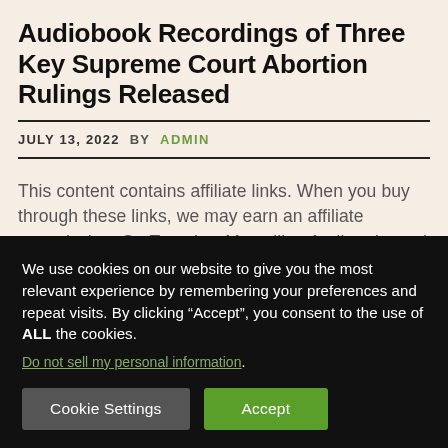Audiobook Recordings of Three Key Supreme Court Abortion Rulings Released
JULY 13, 2022   BY ADMIN
This content contains affiliate links. When you buy through these links, we may earn an affiliate commission. On Tuesday, Macmillan Audio released audiobook recordings of three key Supreme Court
We use cookies on our website to give you the most relevant experience by remembering your preferences and repeat visits. By clicking “Accept”, you consent to the use of ALL the cookies.
Do not sell my personal information.
Cookie Settings   Accept